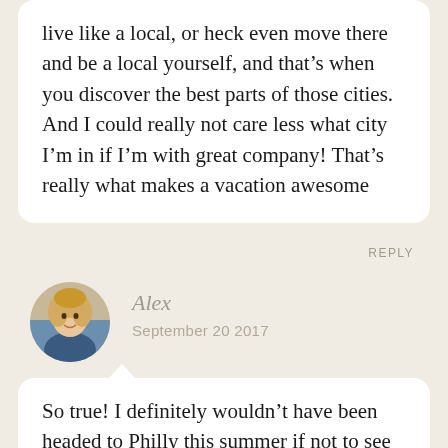live like a local, or heck even move there and be a local yourself, and that's when you discover the best parts of those cities. And I could really not care less what city I'm in if I'm with great company! That's really what makes a vacation awesome
REPLY
[Figure (photo): Circular avatar photo of a blonde woman named Alex]
Alex
September 20 2017
So true! I definitely wouldn't have been headed to Philly this summer if not to see my sister but I'm so glad I did. It was a great trip and I'm sure there are